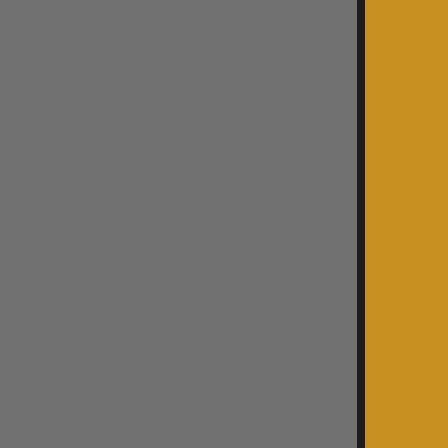[Figure (photo): Decorative left panel with gray and gold/amber vertical color blocks separated by a thin black border]
from five branch announce your s
[Figure (photo): Photograph of a military audience in a large auditorium or theater, soldiers in camouflage uniforms seated in rows, viewed from behind]
joke - I don't rem was the son of Department. Fin that had been pa choices 1 - 16). were jumping u gathered by bran pinned on them Following that c downstairs for r being played lou felt it all f